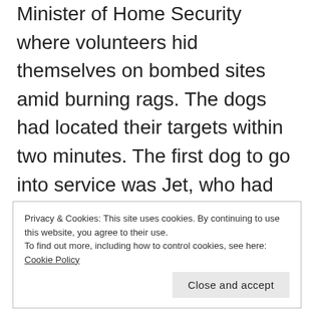Minister of Home Security where volunteers hid themselves on bombed sites amid burning rags. The dogs had located their targets within two minutes. The first dog to go into service was Jet, who had been trained by Margaret. The dog started working on a site that had been bombed by a V-1 attack in north London in October 1944, and was distracted by onlookers, but soon after that located three deceased casualties after
Privacy & Cookies: This site uses cookies. By continuing to use this website, you agree to their use.
To find out more, including how to control cookies, see here: Cookie Policy
Close and accept